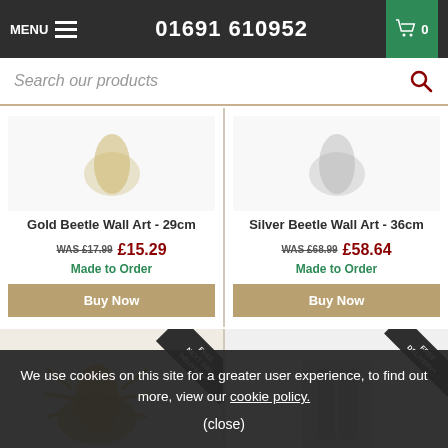MENU  01691 610952  0
Search our products
Gold Beetle Wall Art - 29cm
WAS £17.99  £15.29  Made to Order  Buy Now
Silver Beetle Wall Art - 36cm
WAS £68.99  £58.64  Made to Order  Buy Now
[Figure (photo): Partial view of gold beetle wall art product with FREE NEXT DAY DELIVERY badge]
[Figure (photo): Partial view of silver beetle wall art product with FREE DELIVERY badge]
We use cookies on this site for a greater user experience, to find out more, view our cookie policy.
(close)